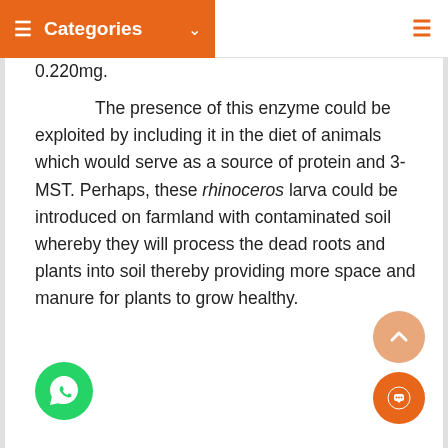≡  Categories  ∨
0.220mg.
The presence of this enzyme could be exploited by including it in the diet of animals which would serve as a source of protein and 3-MST. Perhaps, these rhinoceros larva could be introduced on farmland with contaminated soil whereby they will process the dead roots and plants into soil thereby providing more space and manure for plants to grow healthy.